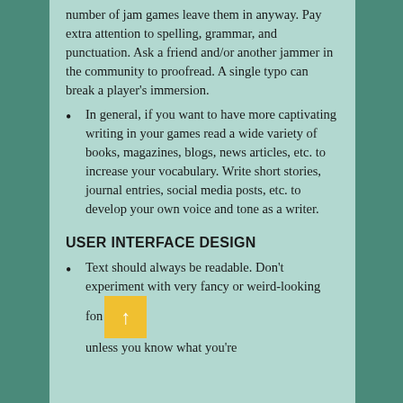number of jam games leave them in anyway. Pay extra attention to spelling, grammar, and punctuation. Ask a friend and/or another jammer in the community to proofread. A single typo can break a player’s immersion.
In general, if you want to have more captivating writing in your games read a wide variety of books, magazines, blogs, news articles, etc. to increase your vocabulary. Write short stories, journal entries, social media posts, etc. to develop your own voice and tone as a writer.
USER INTERFACE DESIGN
Text should always be readable. Don’t experiment with very fancy or weird-looking fonts unless you know what you’re doing and to answer a need.